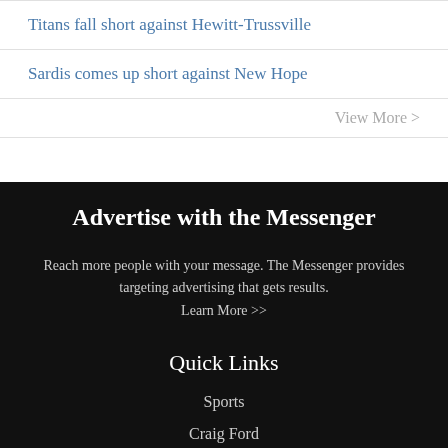Titans fall short against Hewitt-Trussville
Sardis comes up short against New Hope
View More >
Advertise with the Messenger
Reach more people with your message. The Messenger provides targeting advertising that gets results. Learn More >>
Quick Links
Sports
Craig Ford